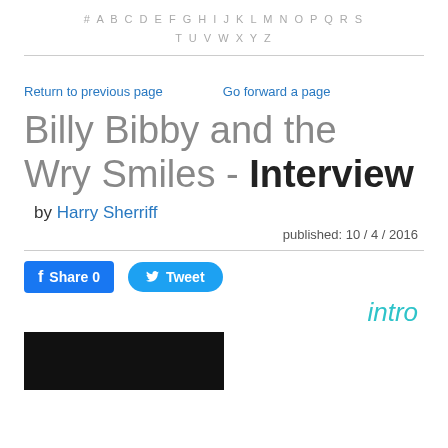# A B C D E F G H I J K L M N O P Q R S T U V W X Y Z
Return to previous page    Go forward a page
Billy Bibby and the Wry Smiles - Interview
by Harry Sherriff
published: 10 / 4 / 2016
Share 0   Tweet
intro
[Figure (photo): Dark concert photo showing a performer with reddish hair at a microphone on a dark stage]